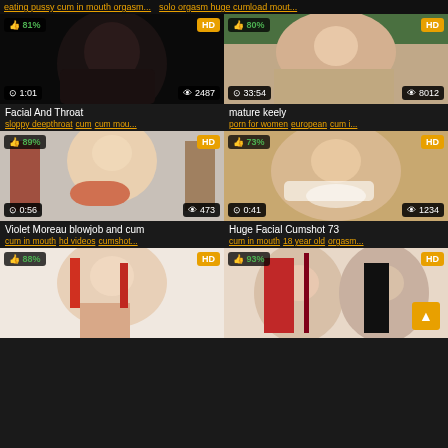eating pussy cum in mouth orgasm...  solo orgasm huge cumload mout...
[Figure (screenshot): Video thumbnail dark background, woman closeup, 81% likes, HD, 1:01 duration, 2487 views]
Facial And Throat
sloppy deepthroat cum cum mou...
[Figure (screenshot): Video thumbnail woman smiling, 80% likes, HD, 33:54 duration, 8012 views]
mature keely
porn for women european cum i...
[Figure (screenshot): Blonde woman closeup, 89% likes, HD, 0:56 duration, 473 views]
Violet Moreau blowjob and cum
cum in mouth hd videos cumshot...
[Figure (screenshot): Woman with cum on face, 73% likes, HD, 0:41 duration, 1234 views]
Huge Facial Cumshot 73
cum in mouth 18 year old orgasm...
[Figure (screenshot): Woman looking at camera, 88% likes, HD, partial thumbnail]
[Figure (screenshot): Two women in lingerie, 93% likes, HD, partial thumbnail]